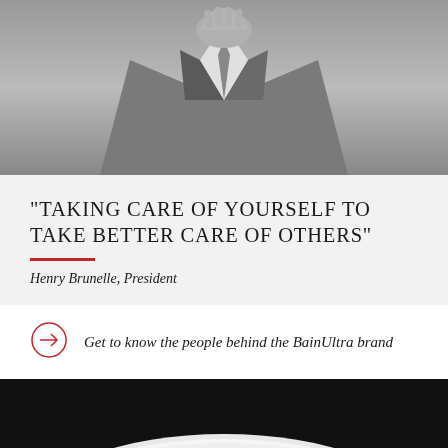[Figure (photo): Black and white photo of a man in a suit with hand near chin, torso visible]
"TAKING CARE OF YOURSELF TO TAKE BETTER CARE OF OTHERS"
Henry Brunelle, President
Get to know the people behind the BainUltra brand
[Figure (photo): Black and white photo of a white oval freestanding bathtub on dark background]